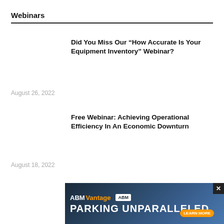Webinars
Did You Miss Our “How Accurate Is Your Equipment Inventory” Webinar?
August 26, 2022
Free Webinar: Achieving Operational Efficiency In An Economic Downturn
August 18, 2022
Did You Miss Our Facility Security Identity And Access
[Figure (screenshot): ABM Vantage advertisement banner with text PARKING UNPARALLELED and LEARN MORE button, overlaid on the bottom portion of the page with a dark blue background and car imagery]